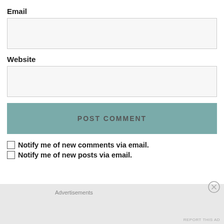Email
[Figure (other): Empty text input field for Email]
Website
[Figure (other): Empty text input field for Website]
POST COMMENT
Notify me of new comments via email.
Notify me of new posts via email.
Advertisements